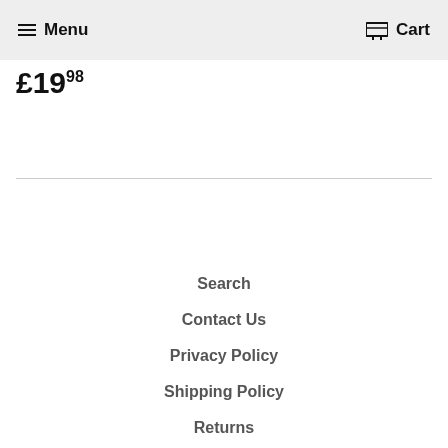Menu   Cart
£19.98
Search
Contact Us
Privacy Policy
Shipping Policy
Returns